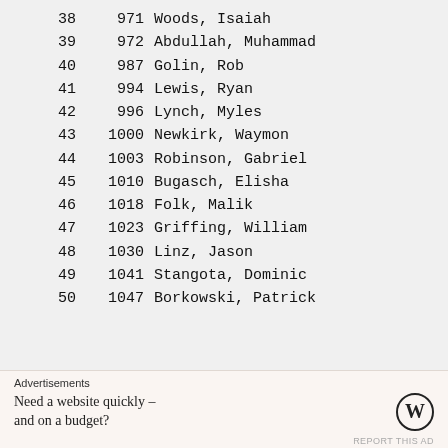38   971 Woods, Isaiah
39   972 Abdullah, Muhammad
40   987 Golin, Rob
41   994 Lewis, Ryan
42   996 Lynch, Myles
43  1000 Newkirk, Waymon
44  1003 Robinson, Gabriel
45  1010 Bugasch, Elisha
46  1018 Folk, Malik
47  1023 Griffing, William
48  1030 Linz, Jason
49  1041 Stangota, Dominic
50  1047 Borkowski, Patrick
Advertisements
Need a website quickly – and on a budget?